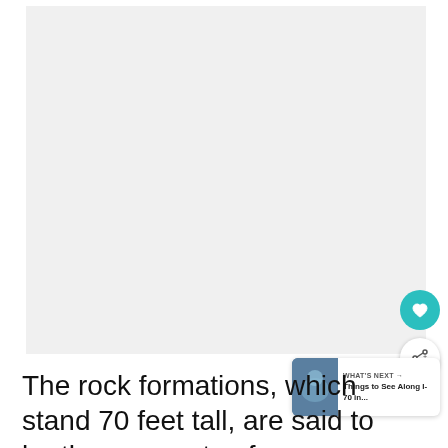[Figure (photo): Large white/blank image area placeholder for a photo of rock formations]
The rock formations, which stand 70 feet tall, are said to be the remnants of an ancient seabed.